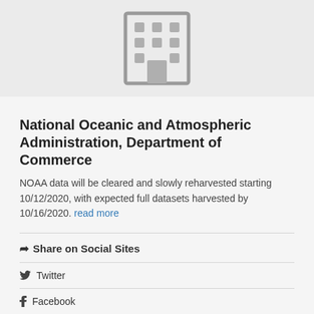[Figure (illustration): Building/organization icon — a grey outlined building with windows and a door on a light grey background]
National Oceanic and Atmospheric Administration, Department of Commerce
NOAA data will be cleared and slowly reharvested starting 10/12/2020, with expected full datasets harvested by 10/16/2020. read more
Share on Social Sites
Twitter
Facebook
Dataset extent